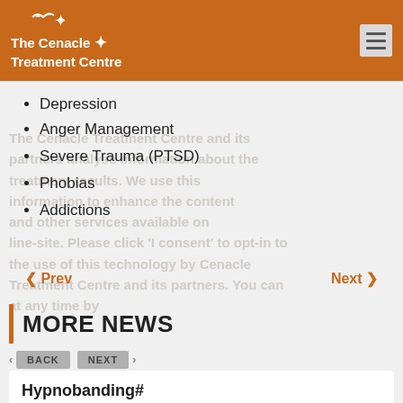The Cenacle Treatment Centre
Depression
Anger Management
Severe Trauma (PTSD)
Phobias
Addictions
MORE NEWS
Hypnobanding#
Hypnobanding#   Once you have made up your mind to get rid of that weight that you no longer